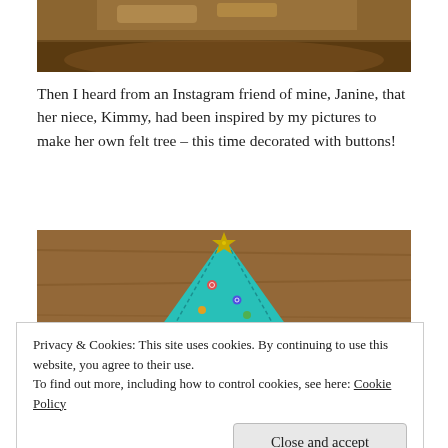[Figure (photo): Partial photo of a wooden tray or board on a surface, top portion only visible]
Then I heard from an Instagram friend of mine, Janine, that her niece, Kimmy, had been inspired by my pictures to make her own felt tree – this time decorated with buttons!
[Figure (photo): Photo of a teal/turquoise felt Christmas tree with a gold star on top, on a wooden background]
Privacy & Cookies: This site uses cookies. By continuing to use this website, you agree to their use.
To find out more, including how to control cookies, see here: Cookie Policy
[Figure (photo): Bottom portion of teal felt Christmas tree photo]